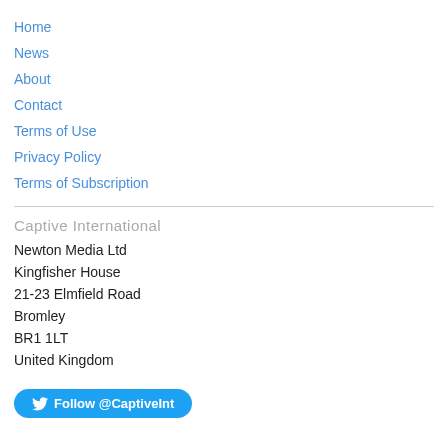Home
News
About
Contact
Terms of Use
Privacy Policy
Terms of Subscription
Captive International
Newton Media Ltd
Kingfisher House
21-23 Elmfield Road
Bromley
BR1 1LT
United Kingdom
Follow @CaptiveInt